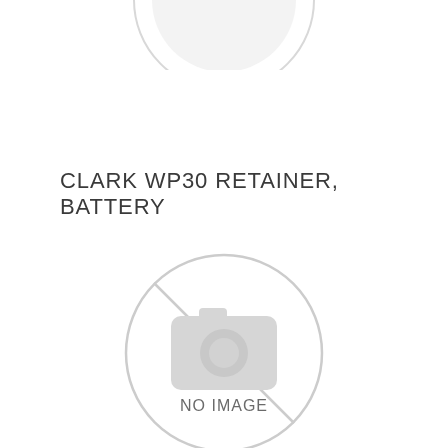[Figure (other): Partial circle/arc watermark at top of page — light gray, no image placeholder icon (top portion cut off)]
CLARK WP30 RETAINER, BATTERY
[Figure (other): No image placeholder icon: light gray circle with a crossed-out camera icon inside and the text 'NO IMAGE' centered within]